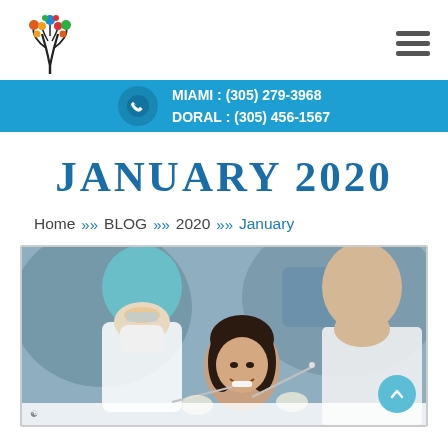Dental clinic logo and navigation menu
MIAMI : (305) 279-3968
DORAL : (305) 456-1567
JANUARY 2020
Home >> BLOG >> 2020 >> January
[Figure (photo): Two dental professionals in scrubs and masks performing a dental procedure on a smiling female patient in a dental chair]